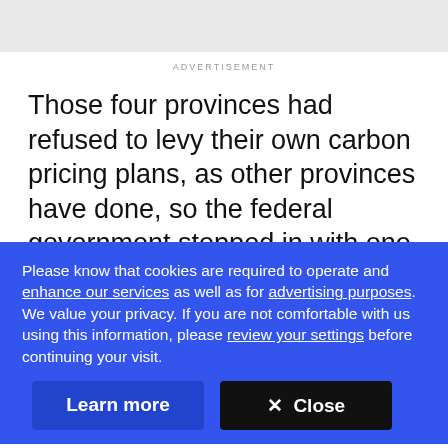ADVERTISEMENT
Those four provinces had refused to levy their own carbon pricing plans, as other provinces have done, so the federal government stepped in with one of its own.
[Figure (photo): Partial photo of a person's head/face visible from the top, set against a gray/taupe background, partially obscured by a cookie consent banner overlay.]
Please know that cookies are required to operate and enhance our services as well as for advertising purposes. We value your privacy. If you are not comfortable with us using this information, please review your settings before continuing your visit.